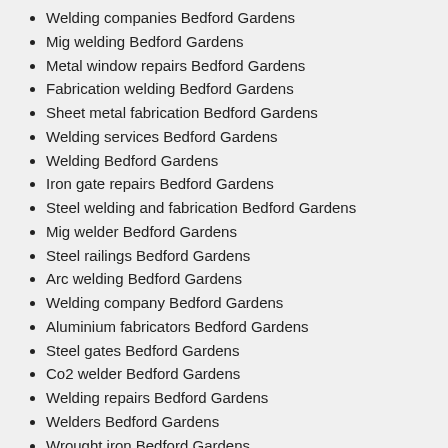Welding companies Bedford Gardens
Mig welding Bedford Gardens
Metal window repairs Bedford Gardens
Fabrication welding Bedford Gardens
Sheet metal fabrication Bedford Gardens
Welding services Bedford Gardens
Welding Bedford Gardens
Iron gate repairs Bedford Gardens
Steel welding and fabrication Bedford Gardens
Mig welder Bedford Gardens
Steel railings Bedford Gardens
Arc welding Bedford Gardens
Welding company Bedford Gardens
Aluminium fabricators Bedford Gardens
Steel gates Bedford Gardens
Co2 welder Bedford Gardens
Welding repairs Bedford Gardens
Welders Bedford Gardens
Wrought iron Bedford Gardens
Security gate repairs Bedford Gardens
Tig welder Bedford Gardens
Mobile stainless steel welding Bedford Gardens
Aluminium welding Bedford Gardens
Stainless steel fabrication Bedford Gardens
We have aluminium welding service providers that are willing to do anything in order to keep their clientele in high spirits and devoted